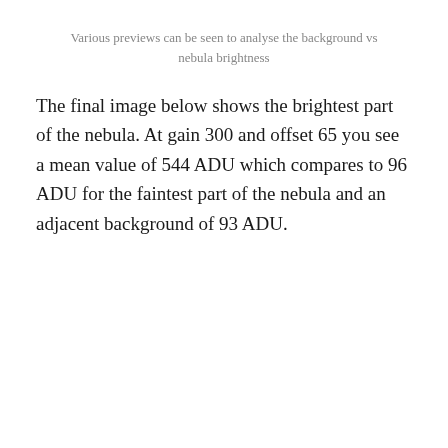Various previews can be seen to analyse the background vs nebula brightness
The final image below shows the brightest part of the nebula. At gain 300 and offset 65 you see a mean value of 544 ADU which compares to 96 ADU for the faintest part of the nebula and an adjacent background of 93 ADU.